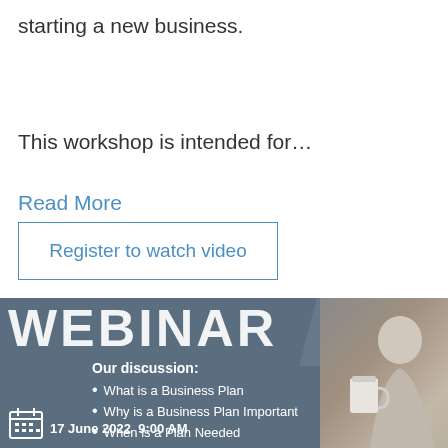starting a new business.
This workshop is intended for…
Read More
Register to watch video
[Figure (infographic): Webinar promotional banner with dark blue-grey background showing 'WEBINAR' in large bold white text, discussion topics listed as bullet points: 'What is a Business Plan', 'Why is a Business Plan Important', 'When is a Plan Needed', with a calendar icon and date '17 June 2022  9:00 AM', and a photo of a person on the right side.]
What is a Business Plan
Why is a Business Plan Important
When is a Plan Needed